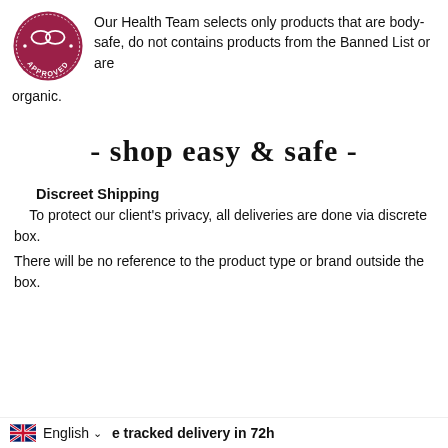[Figure (logo): Circular badge in dark pink/maroon with two overlapping circles icon and the word APPROVED at the bottom]
Our Health Team selects only products that are body-safe, do not contains products from the Banned List or are organic.
- shop easy & safe -
Discreet Shipping
To protect our client's privacy, all deliveries are done via discrete box.
There will be no reference to the product type or brand outside the box.
English  e tracked delivery in 72h